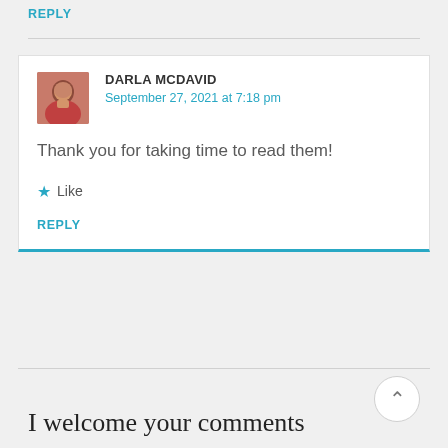REPLY
DARLA MCDAVID
September 27, 2021 at 7:18 pm

Thank you for taking time to read them!

★ Like

REPLY
I welcome your comments